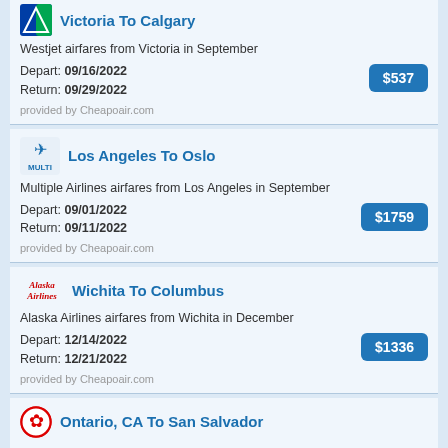Victoria To Calgary
Westjet airfares from Victoria in September
Depart: 09/16/2022
Return: 09/29/2022
$537
provided by Cheapoair.com
Los Angeles To Oslo
Multiple Airlines airfares from Los Angeles in September
Depart: 09/01/2022
Return: 09/11/2022
$1759
provided by Cheapoair.com
Wichita To Columbus
Alaska Airlines airfares from Wichita in December
Depart: 12/14/2022
Return: 12/21/2022
$1336
provided by Cheapoair.com
Ontario, CA To San Salvador